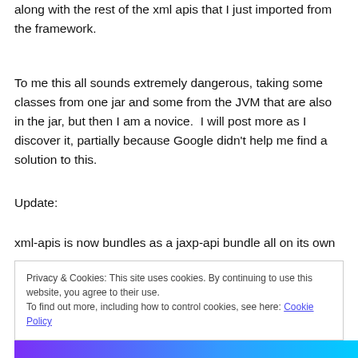along with the rest of the xml apis that I just imported from the framework.
To me this all sounds extremely dangerous, taking some classes from one jar and some from the JVM that are also in the jar, but then I am a novice.  I will post more as I discover it, partially because Google didn't help me find a solution to this.
Update:
xml-apis is now bundles as a jaxp-api bundle all on its own
Privacy & Cookies: This site uses cookies. By continuing to use this website, you agree to their use.
To find out more, including how to control cookies, see here: Cookie Policy
Close and accept